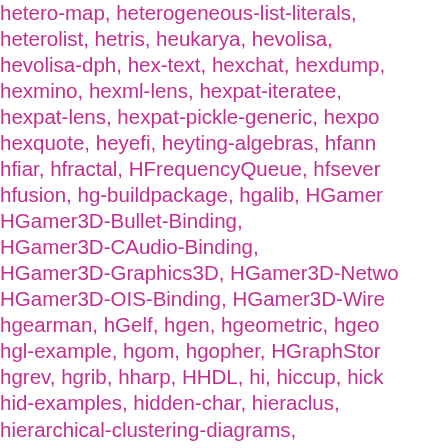hetero-map, heterogeneous-list-literals, heterolist, hetris, heukarya, hevolisa, hevolisa-dph, hex-text, hexchat, hexdump, hexmino, hexml-lens, hexpat-iteratee, hexpat-lens, hexpat-pickle-generic, hexp, hexquote, heyefi, heyting-algebras, hfann, hfiar, hfractal, HFrequencyQueue, hfsever, hfusion, hg-buildpackage, hgalib, HGamer, HGamer3D-Bullet-Binding, HGamer3D-CAudio-Binding, HGamer3D-Graphics3D, HGamer3D-Netwo, HGamer3D-OIS-Binding, HGamer3D-Wire, hgearman, hGelf, hgen, hgeometric, hgeo, hgl-example, hgom, hgopher, HGraphStor, hgrev, hgrib, hharp, HHDL, hi, hiccup, hick, hid-examples, hidden-char, hieraclus, hierarchical-clustering-diagrams, hierarchical-exceptions, hiernotify, Hiero, HiggsSet, higher-leveldb, highjson-th, highlight-versions, highWaterMark, hills, himo, himpy, hindley-milner, hinduce-e